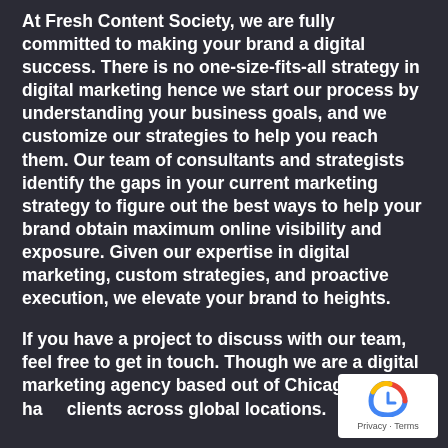At Fresh Content Society, we are fully committed to making your brand a digital success. There is no one-size-fits-all strategy in digital marketing hence we start our process by understanding your business goals, and we customize our strategies to help you reach them. Our team of consultants and strategists identify the gaps in your current marketing strategy to figure out the best ways to help your brand obtain maximum online visibility and exposure. Given our expertise in digital marketing, custom strategies, and proactive execution, we elevate your brand to heights.
If you have a project to discuss with our team, feel free to get in touch. Though we are a digital marketing agency based out of Chicago, we have clients across global locations.
[Figure (logo): Google reCAPTCHA badge with logo and Privacy - Terms text]